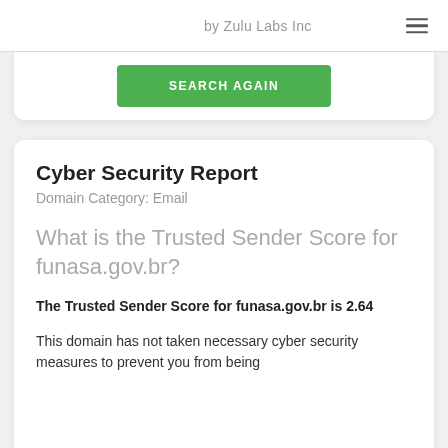by Zulu Labs Inc
[Figure (screenshot): SEARCH AGAIN button in green]
Cyber Security Report
Domain Category: Email
What is the Trusted Sender Score for funasa.gov.br?
The Trusted Sender Score for funasa.gov.br is 2.64
This domain has not taken necessary cyber security measures to prevent you from being